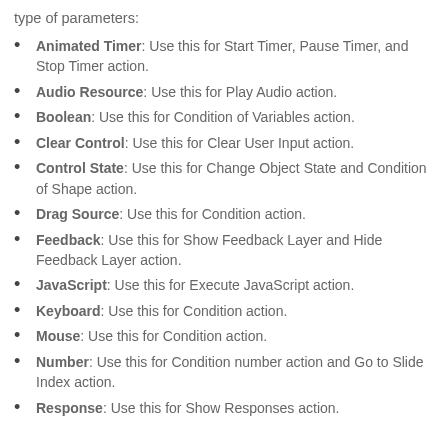type of parameters:
Animated Timer: Use this for Start Timer, Pause Timer, and Stop Timer action.
Audio Resource: Use this for Play Audio action.
Boolean: Use this for Condition of Variables action.
Clear Control: Use this for Clear User Input action.
Control State: Use this for Change Object State and Condition of Shape action.
Drag Source: Use this for Condition action.
Feedback: Use this for Show Feedback Layer and Hide Feedback Layer action.
JavaScript: Use this for Execute JavaScript action.
Keyboard: Use this for Condition action.
Mouse: Use this for Condition action.
Number: Use this for Condition number action and Go to Slide Index action.
Response: Use this for Show Responses action.